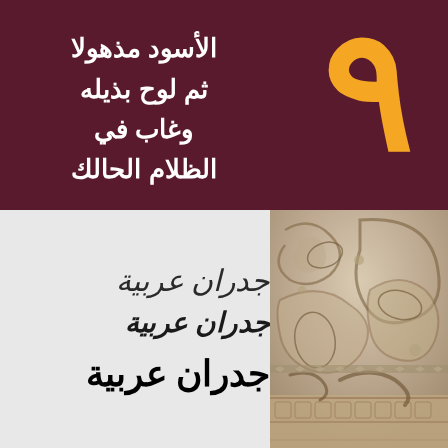٩
الأسود مذهولا
ثم لوح بذيله
وغاب في
الظلام الحالك
[Figure (photo): Arabic calligraphy text written in three styles/weights on a white/light background showing the phrase جدران عربية (Arabic walls) in three different calligraphic styles: light handwritten, medium bold italic, and heavy bold]
[Figure (photo): Decorative stone carving of Arabic calligraphy letters and ornamental Islamic geometric patterns in beige/cream stone relief]